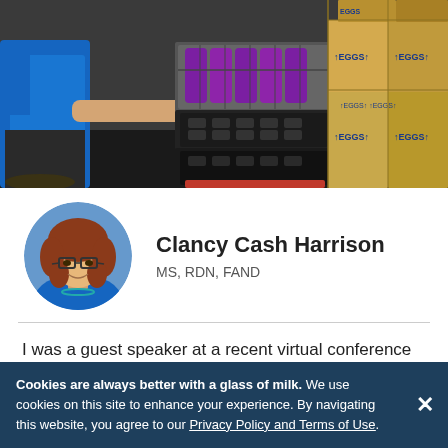[Figure (photo): A person in a blue shirt handling stacked plastic milk crates next to large cardboard boxes labeled EGGS in a warehouse or distribution setting.]
[Figure (photo): Circular portrait photo of Clancy Cash Harrison, a woman with curly reddish hair, glasses, and a blue top, smiling.]
Clancy Cash Harrison
MS, RDN, FAND
I was a guest speaker at a recent virtual conference when
Cookies are always better with a glass of milk. We use cookies on this site to enhance your experience. By navigating this website, you agree to our Privacy Policy and Terms of Use.